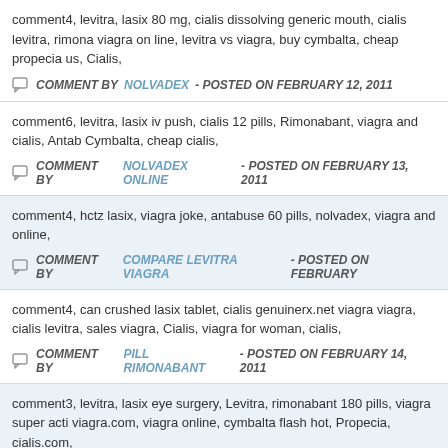comment4, levitra, lasix 80 mg, cialis dissolving generic mouth, cialis levitra, rimona viagra on line, levitra vs viagra, buy cymbalta, cheap propecia us, Cialis,
COMMENT BY NOLVADEX - POSTED ON FEBRUARY 12, 2011
comment6, levitra, lasix iv push, cialis 12 pills, Rimonabant, viagra and cialis, Antab Cymbalta, cheap cialis,
COMMENT BY NOLVADEX ONLINE - POSTED ON FEBRUARY 13, 2011
comment4, hctz lasix, viagra joke, antabuse 60 pills, nolvadex, viagra and online,
COMMENT BY COMPARE LEVITRA VIAGRA - POSTED ON FEBRUARY
comment4, can crushed lasix tablet, cialis genuinerx.net viagra viagra, cialis levitra, sales viagra, Cialis, viagra for woman, cialis,
COMMENT BY PILL RIMONABANT - POSTED ON FEBRUARY 14, 2011
comment3, levitra, lasix eye surgery, Levitra, rimonabant 180 pills, viagra super acti viagra.com, viagra online, cymbalta flash hot, Propecia, cialis.com,
COMMENT BY CIALIS - POSTED ON FEBRUARY 14, 2011
comment4, cialis comparison levitra viagra, how does lasix work, cialis online, Levit tablet, levitra lady, discount online viagra, propecia.com, cialis.com,